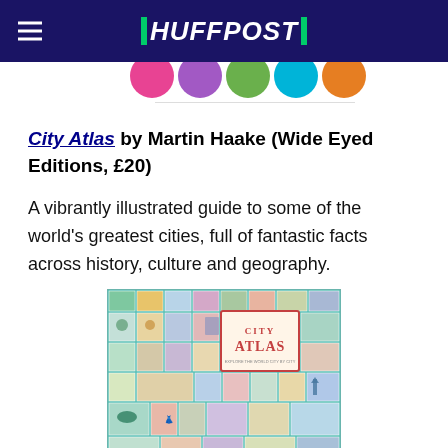HUFFPOST
[Figure (illustration): Partial view of colorful circular icons/dots in a row at the top of the page]
City Atlas by Martin Haake (Wide Eyed Editions, £20)
A vibrantly illustrated guide to some of the world's greatest cities, full of fantastic facts across history, culture and geography.
[Figure (photo): Book cover of City Atlas by Martin Haake showing a colorful collage of illustrated stamps depicting world city landmarks and cultural icons on a teal background, with the title 'CITY ATLAS' in the center in a decorative red-bordered box]